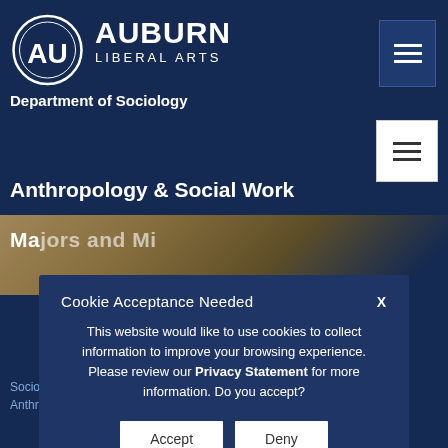[Figure (screenshot): Auburn University Liberal Arts Department of Sociology, Anthropology & Social Work website header with navigation, partially visible background image of a person, and a cookie consent modal dialog overlay]
AUBURN LIBERAL ARTS Department of Sociology
Anthropology & Social Work
Majors and Mi...
Cookie Acceptance Needed
This website would like to use cookies to collect information to improve your browsing experience. Please review our Privacy Statement for more information. Do you accept?
Sociology Minor
Anthropology Minor and Minor...